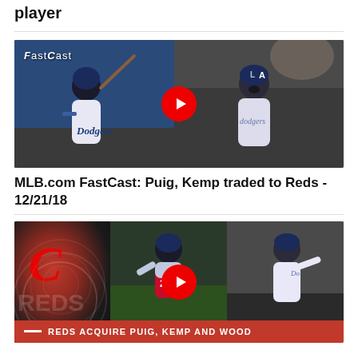player
[Figure (screenshot): FastCast video thumbnail showing two Dodgers players — Yasiel Puig batting on left and Adrian Gonzalez celebrating on right — with a red play button in center]
MLB.com FastCast: Puig, Kemp traded to Reds - 12/21/18
[Figure (screenshot): Video thumbnail showing Cincinnati Reds logo on dark background on left, players including Puig and Kemp in center and right panels, with red bottom bar reading REDS ACQUIRE PUIG, KEMP AND WOOD and a red play button]